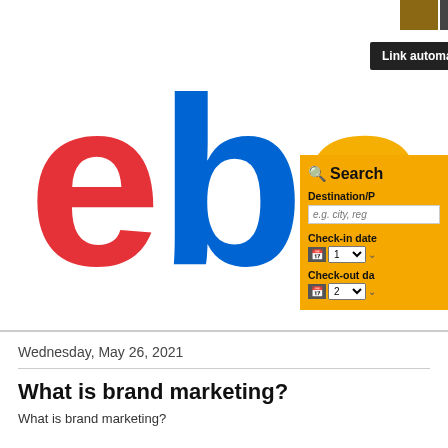[Figure (logo): eBay logo with red 'e', blue 'b', yellow 'a', green 'y' letters on white background]
[Figure (screenshot): Partial hotel/travel search widget with orange background showing Search heading, Destination/P input, Check-in date with calendar icon and dropdowns (1), Check-out date with calendar icon and dropdowns (2)]
[Figure (photo): Two small thumbnail photos at top right corner]
[Figure (screenshot): Link automation dark button label]
Wednesday, May 26, 2021
What is brand marketing?
What is brand marketing?